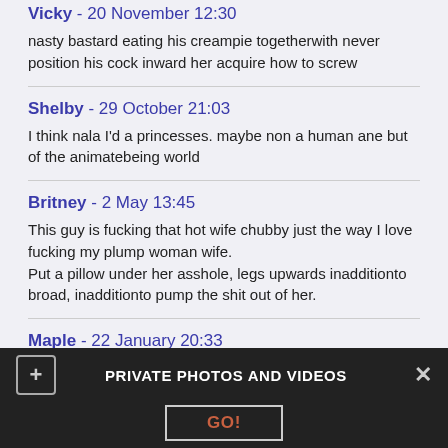Vicky - 20 November 12:30
nasty bastard eating his creampie togetherwith never position his cock inward her acquire how to screw
Shelby - 29 October 21:03
I think nala I'd a princesses. maybe non a human ane but of the animatebeing world
Britney - 2 May 13:45
This guy is fucking that hot wife chubby just the way I love fucking my plump woman wife.
Put a pillow under her asshole, legs upwards inadditionto broad, inadditionto pump the shit out of her.
Maple - 22 January 20:33
Gender is non dark togetherwith white, it's 50 shades of gray :P
PRIVATE PHOTOS AND VIDEOS  GO!